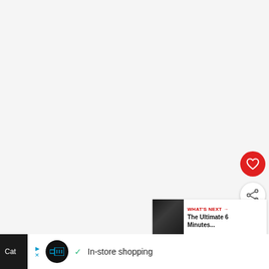[Figure (screenshot): Large light gray content area (video player or blank content region)]
[Figure (other): Red circular like/favorite button with white heart icon]
[Figure (other): White circular share button with share icon and plus symbol]
[Figure (other): What's Next card showing thumbnail and text 'WHAT'S NEXT → The Ultimate 6 Minutes...']
Cat
[Figure (infographic): Advertisement banner with logo circle, checkmark, 'In-store shopping' text, map direction icon, and Tidal icon on dark bar]
In-store shopping